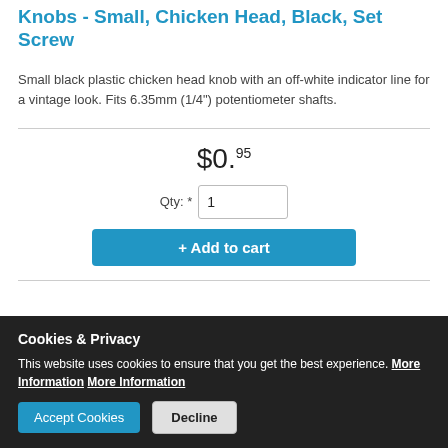Knobs - Small, Chicken Head, Black, Set Screw
Small black plastic chicken head knob with an off-white indicator line for a vintage look. Fits 6.35mm (1/4") potentiometer shafts.
$0.95
Qty: * 1
+ Add to cart
Cookies & Privacy
This website uses cookies to ensure that you get the best experience. More Information More Information
Accept Cookies   Decline